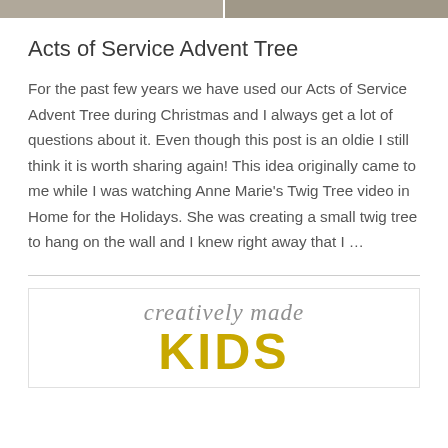[Figure (photo): Two side-by-side cropped photographs at the top of the page, partially visible]
Acts of Service Advent Tree
For the past few years we have used our Acts of Service Advent Tree during Christmas and I always get a lot of questions about it. Even though this post is an oldie I still think it is worth sharing again! This idea originally came to me while I was watching Anne Marie's Twig Tree video in Home for the Holidays. She was creating a small twig tree to hang on the wall and I knew right away that I …
[Figure (logo): Logo reading 'creatively made KIDS' in script and bold gold text]